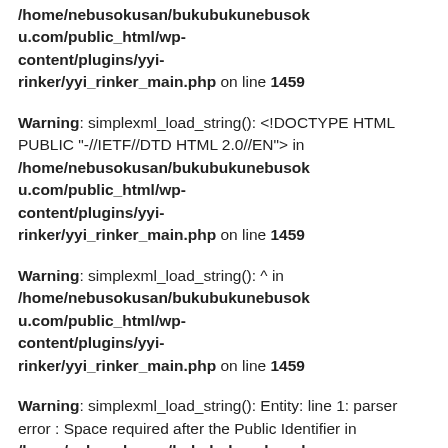/home/nebusokusan/bukubukunebusoku.com/public_html/wp-content/plugins/yyi-rinker/yyi_rinker_main.php on line 1459
Warning: simplexml_load_string(): <!DOCTYPE HTML PUBLIC "-//IETF//DTD HTML 2.0//EN"> in /home/nebusokusan/bukubukunebusoku.com/public_html/wp-content/plugins/yyi-rinker/yyi_rinker_main.php on line 1459
Warning: simplexml_load_string(): ^ in /home/nebusokusan/bukubukunebusoku.com/public_html/wp-content/plugins/yyi-rinker/yyi_rinker_main.php on line 1459
Warning: simplexml_load_string(): Entity: line 1: parser error : Space required after the Public Identifier in /home/nebusokusan/bukubukunebusoku.com/public_html/wp-content/plugins/yyi-rinker/yyi_rinker_main.php on line 1459